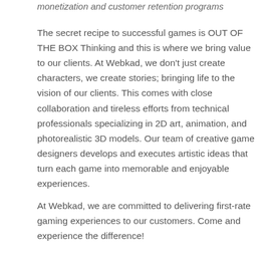monetization and customer retention programs
The secret recipe to successful games is OUT OF THE BOX Thinking and this is where we bring value to our clients. At Webkad, we don't just create characters, we create stories; bringing life to the vision of our clients. This comes with close collaboration and tireless efforts from technical professionals specializing in 2D art, animation, and photorealistic 3D models. Our team of creative game designers develops and executes artistic ideas that turn each game into memorable and enjoyable experiences.
At Webkad, we are committed to delivering first-rate gaming experiences to our customers. Come and experience the difference!